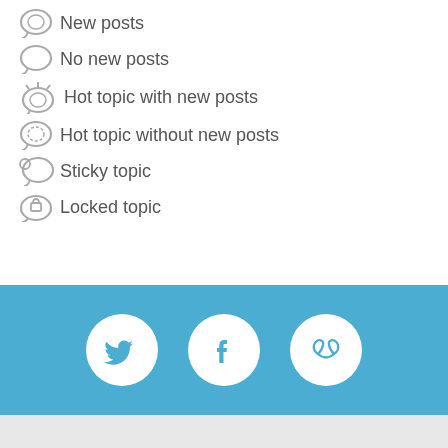New posts
No new posts
Hot topic with new posts
Hot topic without new posts
Sticky topic
Locked topic
[Figure (infographic): Blue bar with three white circle icons: Twitter bird, Facebook f, and kidney/urology symbol]
UROLOGYMATCH MENU